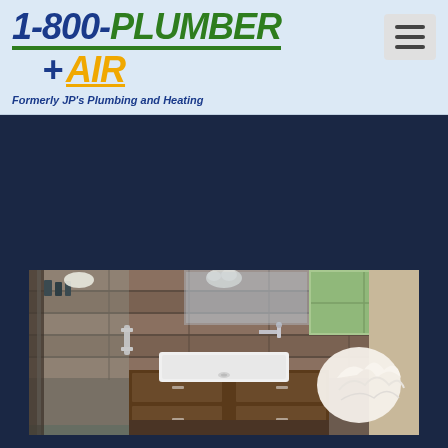[Figure (logo): 1-800-PLUMBER + AIR logo with green underline accent. Formerly JP's Plumbing and Heating tagline below.]
[Figure (other): Hamburger menu icon button (three horizontal lines) in gray rounded rectangle, top right of header.]
[Figure (photo): Wide bathroom interior photo showing modern sink with vessel basin, chrome wall-mounted faucet, wood vanity cabinet, tiled walls in brown/tan tones, shower area with glass enclosure, and decorative white shell/coral ornament on right side.]